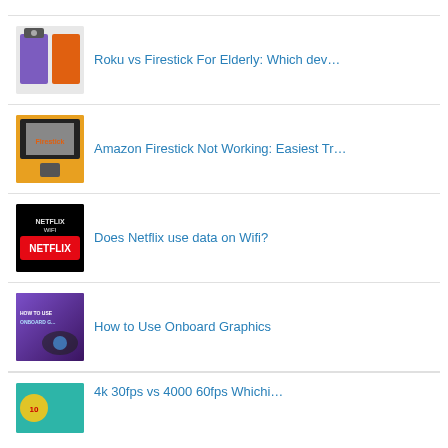Roku vs Firestick For Elderly: Which dev…
Amazon Firestick Not Working: Easiest Tr…
Does Netflix use data on Wifi?
How to Use Onboard Graphics
4k 30fps vs 4000 60fps Whichi…